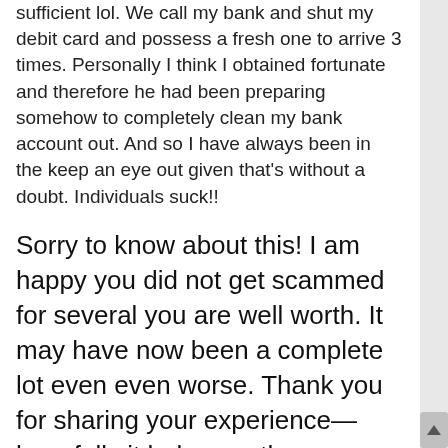sufficient lol. We call my bank and shut my debit card and possess a fresh one to arrive 3 times. Personally I think I obtained fortunate and therefore he had been preparing somehow to completely clean my bank account out. And so I have always been in the keep an eye out given that's without a doubt. Individuals suck!!
Sorry to know about this! I am happy you did not get scammed for several you are well worth. It may have now been a complete lot even even worse. Thank you for sharing your experience—hopefully it helps another person avoid the exact same fate!